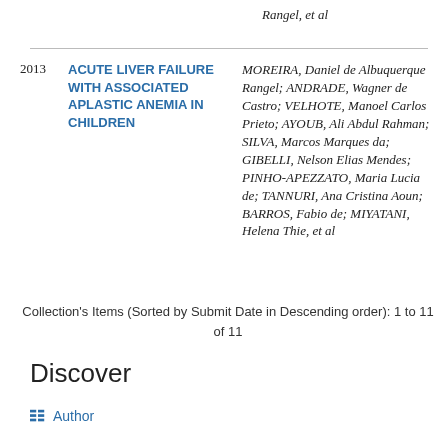Rangel, et al
| Year | Title | Authors |
| --- | --- | --- |
| 2013 | ACUTE LIVER FAILURE WITH ASSOCIATED APLASTIC ANEMIA IN CHILDREN | MOREIRA, Daniel de Albuquerque Rangel; ANDRADE, Wagner de Castro; VELHOTE, Manoel Carlos Prieto; AYOUB, Ali Abdul Rahman; SILVA, Marcos Marques da; GIBELLI, Nelson Elias Mendes; PINHO-APEZZATO, Maria Lucia de; TANNURI, Ana Cristina Aoun; BARROS, Fabio de; MIYATANI, Helena Thie, et al |
Collection's Items (Sorted by Submit Date in Descending order): 1 to 11 of 11
Discover
Author